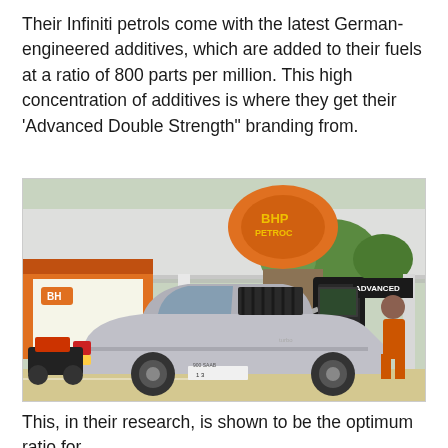Their Infiniti petrols come with the latest German-engineered additives, which are added to their fuels at a ratio of 800 parts per million. This high concentration of additives is where they get their 'Advanced Double Strength" branding from.
[Figure (photo): A silver Saab 900 Turbo car parked at a BHPetrol gas station, next to an Infiniti petrol pump labeled 'Advanced Double Strength'. A person in dark clothing stands near the pump. The station has orange branding.]
This, in their research, is shown to be the optimum ratio for